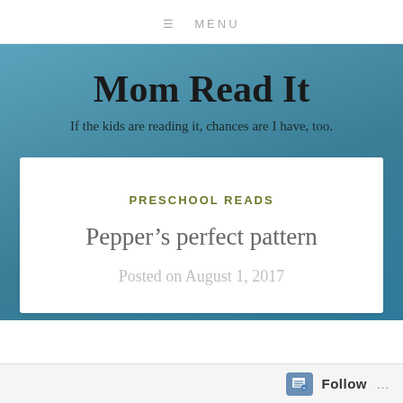≡ MENU
Mom Read It
If the kids are reading it, chances are I have, too.
PRESCHOOL READS
Pepper's perfect pattern
Posted on August 1, 2017
Follow ...